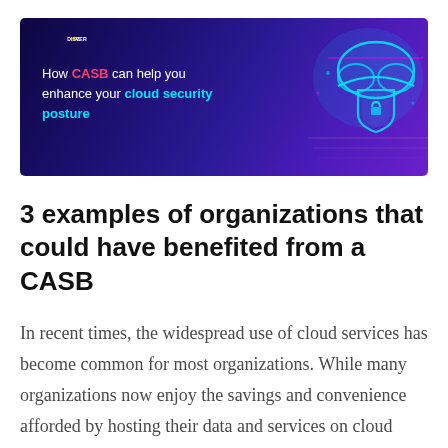[Figure (infographic): Banner advertisement with dark purple/blue gradient background. Left side shows 'DISC O VER' (with lightbulb icon replacing the 'O') in large white bold text, followed by 'How CASB can help you enhance your cloud security posture' where CASB is in pink/red and 'cloud security posture' is in cyan. Right side shows a glowing cyan cloud and shield graphic with digital/tech aesthetic.]
3 examples of organizations that could have benefited from a CASB
In recent times, the widespread use of cloud services has become common for most organizations. While many organizations now enjoy the savings and convenience afforded by hosting their data and services on cloud